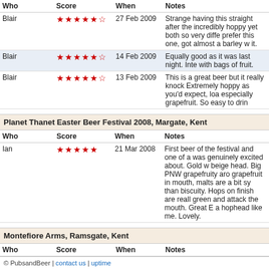| Who | Score | When | Notes |
| --- | --- | --- | --- |
| Blair | 4.5 stars | 27 Feb 2009 | Strange having this straight after the incredibly hoppy yet both so very diff prefer this one, got almost a barley w it. |
| Blair | 4.5 stars | 14 Feb 2009 | Equally good as it was last night. Inte with bags of fruit. |
| Blair | 4.5 stars | 13 Feb 2009 | This is a great beer but it really knock Extremely hoppy as you'd expect, loa especially grapefruit. So easy to drin |
Planet Thanet Easter Beer Festival 2008, Margate, Kent
| Who | Score | When | Notes |
| --- | --- | --- | --- |
| Ian | 5 stars | 21 Mar 2008 | First beer of the festival and one of a was genuinely excited about. Gold w beige head. Big PNW grapefruity aro grapefruit in mouth, malts are a bit sy than biscuity. Hops on finish are reall green and attack the mouth. Great E a hophead like me. Lovely. |
Montefiore Arms, Ramsgate, Kent
| Who | Score | When | Notes |
| --- | --- | --- | --- |
| Blair | 4.5 stars | 22 Feb 2008 | Slightly hazy amber coloured with a f head. Big aroma of grassy, spicy hop caramel balancing mouth puckering h warming alcohol finish. Extremely go |
© PubsandBeer | contact us | uptime